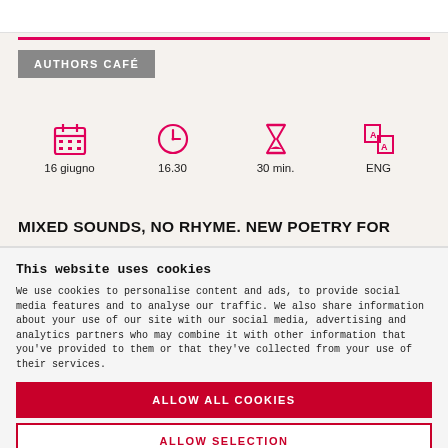AUTHORS CAFÉ
[Figure (infographic): Four icons in a row: calendar icon (16 giugno), clock icon (16.30), hourglass icon (30 min.), translation/language icon (ENG)]
MIXED SOUNDS, NO RHYME. NEW POETRY FOR
This website uses cookies
We use cookies to personalise content and ads, to provide social media features and to analyse our traffic. We also share information about your use of our site with our social media, advertising and analytics partners who may combine it with other information that you've provided to them or that they've collected from your use of their services.
ALLOW ALL COOKIES
ALLOW SELECTION
USE NECESSARY COOKIES ONLY